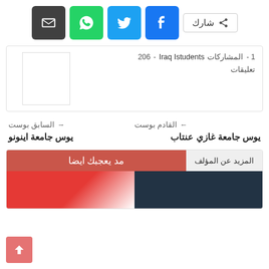[Figure (screenshot): Social share buttons row: dark email icon, green WhatsApp icon, light blue Twitter icon, dark blue Facebook icon, and a share label button]
شارك
Iraq Istudents - المشاركات - 206 - 1 تعليقات
القادم بوست
يوس جامعة غازي عنتاب
السابق بوست
يوس جامعة اينونو
المزيد عن المؤلف
مد يعجبك ايضا